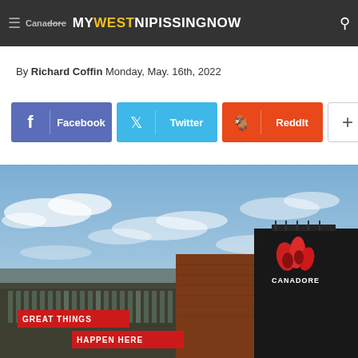MY WEST NIPISSING NOW — Canadore
By Richard Coffin Monday, May. 16th, 2022
[Figure (infographic): Social sharing buttons: Facebook (blue), Twitter (cyan), ReddIt (orange-red), plus button (white)]
[Figure (photo): Exterior photo of Canadore College campus buildings against a blue sky with clouds. Two buildings visible: a dark multi-storey building on the left with grid windows, and a brown brick building on the right with the Canadore logo (red flame icon and CANADORE text). Red banners read GREAT THINGS and HAPPEN HERE.]